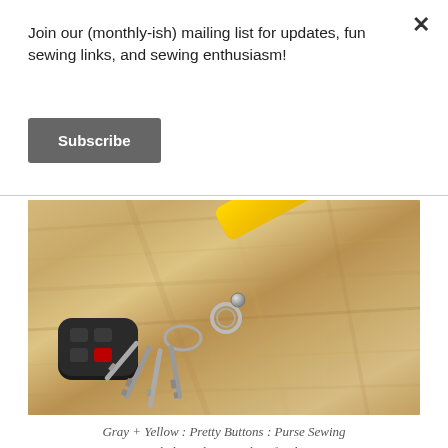Join our (monthly-ish) mailing list for updates, fun sewing links, and sewing enthusiasm!
Subscribe
[Figure (photo): A yellow fabric wrist strap key fob attached to a set of car keys and a black key fob remote, resting on a wooden surface.]
Gray + Yellow : Pretty Buttons : Purse Sewing Rivets : Recycled Hardware: A bit of Fabric Origami